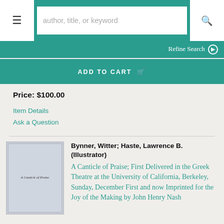[Figure (screenshot): Website navigation bar with hamburger menu button on left, search field with placeholder 'author, title, or keyword', and search icon button on right, all on teal background]
Refine Search ❯
ADD TO CART 🛒
Price: $100.00
Item Details
Ask a Question
[Figure (photo): Book cover image showing a pale blue/gray book with text 'A Canticle of Praise' on the spine/cover]
Bynner, Witter; Haste, Lawrence B. (Illustrator)
A Canticle of Praise; First Delivered in the Greek Theatre at the University of California, Berkeley, Sunday, December First and now Imprinted for the Joy of the Making by John Henry Nash